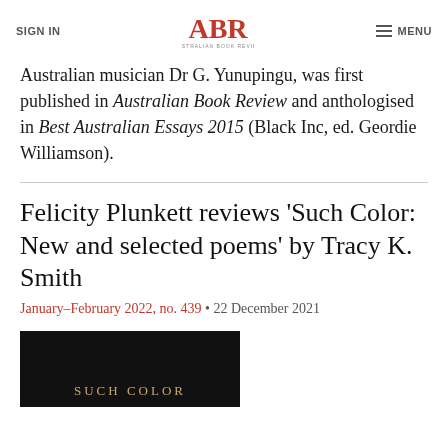SIGN IN | ABR Australian Book Review | MENU
Australian musician Dr G. Yunupingu, was first published in Australian Book Review and anthologised in Best Australian Essays 2015 (Black Inc, ed. Geordie Williamson).
Felicity Plunkett reviews 'Such Color: New and selected poems' by Tracy K. Smith
January–February 2022, no. 439 • 22 December 2021
[Figure (photo): Book cover of 'Such Color' with dark background and gold text reading SUCH COLOR]